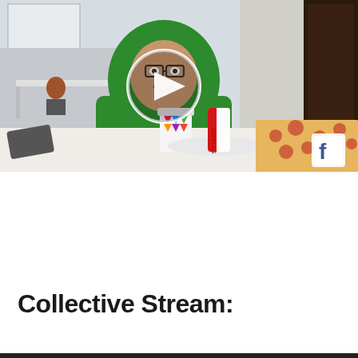[Figure (screenshot): Video thumbnail showing a person wearing a green hoodie costume sitting at a white table with pizza, a cup, and a 100 Plus can. A white play button circle is overlaid in the center. A Facebook logo icon appears in the bottom right corner.]
Collective Stream: